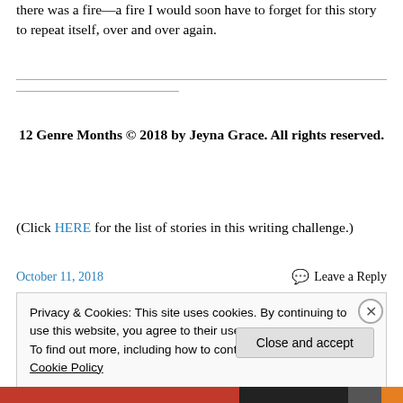there was a fire—a fire I would soon have to forget for this story to repeat itself, over and over again.
12 Genre Months © 2018 by Jeyna Grace. All rights reserved.
(Click HERE for the list of stories in this writing challenge.)
October 11, 2018
Leave a Reply
Privacy & Cookies: This site uses cookies. By continuing to use this website, you agree to their use.
To find out more, including how to control cookies, see here: Cookie Policy
Close and accept